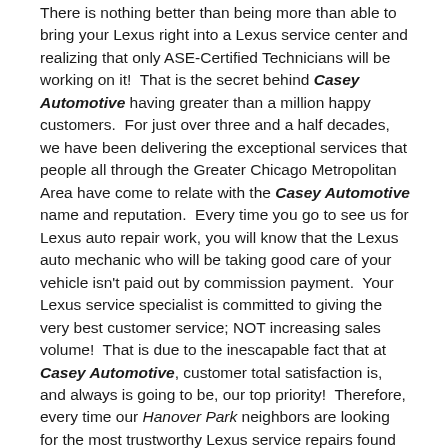There is nothing better than being more than able to bring your Lexus right into a Lexus service center and realizing that only ASE-Certified Technicians will be working on it!  That is the secret behind Casey Automotive having greater than a million happy customers.  For just over three and a half decades, we have been delivering the exceptional services that people all through the Greater Chicago Metropolitan Area have come to relate with the Casey Automotive name and reputation.  Every time you go to see us for Lexus auto repair work, you will know that the Lexus auto mechanic who will be taking good care of your vehicle isn't paid out by commission payment.  Your Lexus service specialist is committed to giving the very best customer service; NOT increasing sales volume!  That is due to the inescapable fact that at Casey Automotive, customer total satisfaction is, and always is going to be, our top priority!  Therefore, every time our Hanover Park neighbors are looking for the most trustworthy Lexus service repairs found within the region, the name they need to know is Casey Automotive.